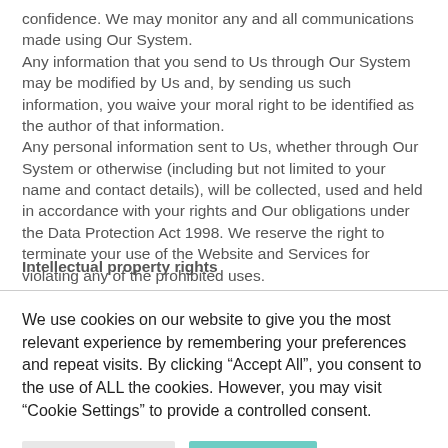confidence. We may monitor any and all communications made using Our System. Any information that you send to Us through Our System may be modified by Us and, by sending us such information, you waive your moral right to be identified as the author of that information. Any personal information sent to Us, whether through Our System or otherwise (including but not limited to your name and contact details), will be collected, used and held in accordance with your rights and Our obligations under the Data Protection Act 1998. We reserve the right to terminate your use of the Website and Services for violating any of the prohibited uses.
Intellectual property rights
We use cookies on our website to give you the most relevant experience by remembering your preferences and repeat visits. By clicking “Accept All”, you consent to the use of ALL the cookies. However, you may visit "Cookie Settings" to provide a controlled consent.